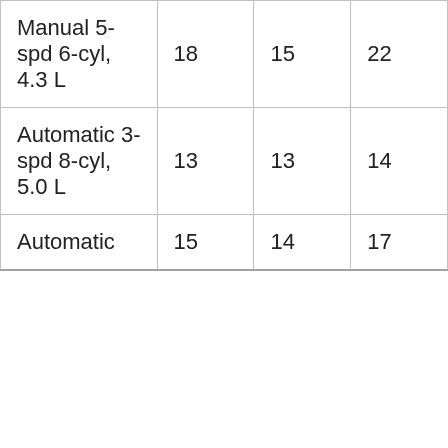| Manual 5-spd 6-cyl, 4.3 L | 18 | 15 | 22 |
| Automatic 3-spd 8-cyl, 5.0 L | 13 | 13 | 14 |
| Automatic | 15 | 14 | 17 |